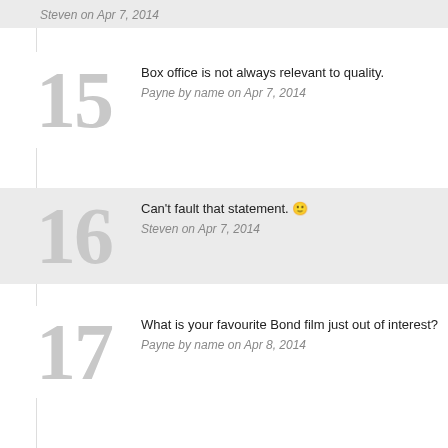Steven on Apr 7, 2014
15 Box office is not always relevant to quality.
Payne by name on Apr 7, 2014
16 Can't fault that statement. 🙂
Steven on Apr 7, 2014
17 What is your favourite Bond film just out of interest?
Payne by name on Apr 8, 2014
18 The Living Daylights with Dalton. I grew up watching them on TV and went to the cinema with Brosnan. However, Dalton brought to life for me the g... Craig's three films so far I would pick QoS. CR didn't reach my exp... Bond as a commander in the SBS), and the third act of Skyfall felt o...
Steven on Apr 8, 2014
19 Excellent choice to that man. That is one of my favourites. Som...